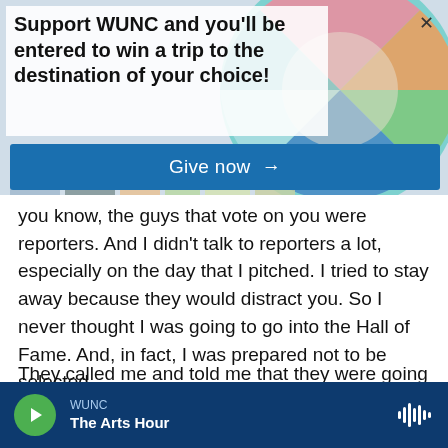[Figure (illustration): Colorful abstract geometric banner background with circles and rectangles in teal, pink, orange, green, blue, yellow, grey colors]
Support WUNC and you'll be entered to win a trip to the destination of your choice!
Give now →
you know, the guys that vote on you were reporters. And I didn't talk to reporters a lot, especially on the day that I pitched. I tried to stay away because they would distract you. So I never thought I was going to go into the Hall of Fame. And, in fact, I was prepared not to be selected.
They called me and told me that they were going to have the voting and, you know, there was a good
WUNC
The Arts Hour